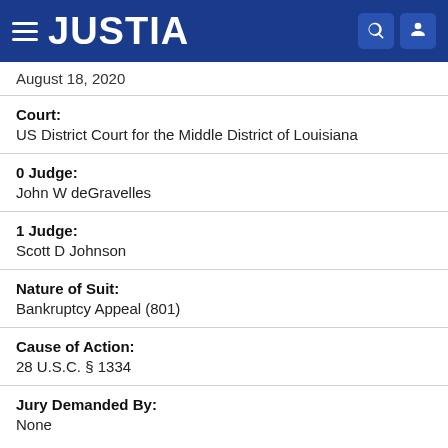JUSTIA
August 18, 2020
Court: US District Court for the Middle District of Louisiana
0 Judge: John W deGravelles
1 Judge: Scott D Johnson
Nature of Suit: Bankruptcy Appeal (801)
Cause of Action: 28 U.S.C. § 1334
Jury Demanded By: None